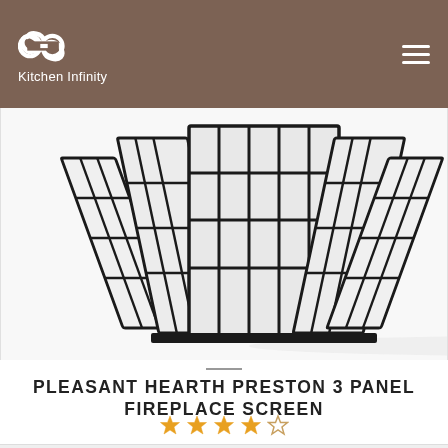Kitchen Infinity
[Figure (photo): Pleasant Hearth Preston 3 Panel Fireplace Screen — a black metal mesh multi-panel folding fireplace screen with decorative grid pattern, shown against a white background.]
PLEASANT HEARTH PRESTON 3 PANEL FIREPLACE SCREEN
4 out of 5 stars rating
CHECK PRICE →